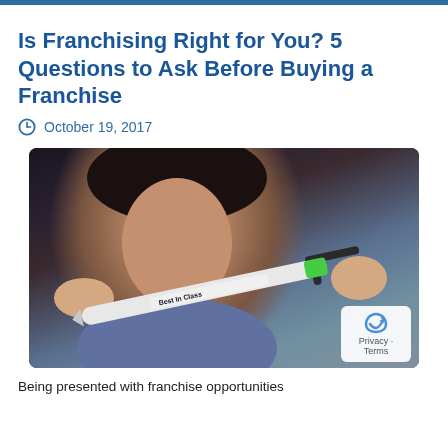Is Franchising Right for You? 5 Questions to Ask Before Buying a Franchise
October 19, 2017
[Figure (photo): Person holding a white pen branded 'Best in Class' with a green clip, held up close to camera with blurred face in background]
Being presented with franchise opportunities